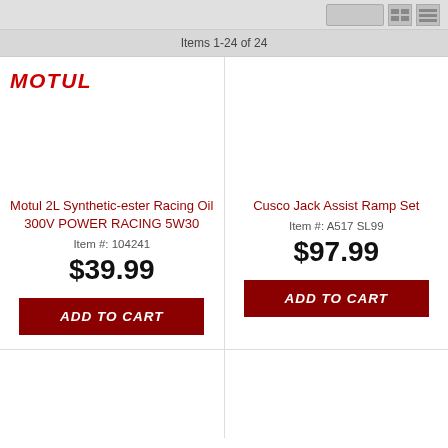Items 1-24 of 24
[Figure (logo): MOTUL brand logo in red italic bold text]
Motul 2L Synthetic-ester Racing Oil 300V POWER RACING 5W30
Item #: 104241
$39.99
ADD TO CART
Cusco Jack Assist Ramp Set
Item #: A517 SL99
$97.99
ADD TO CART